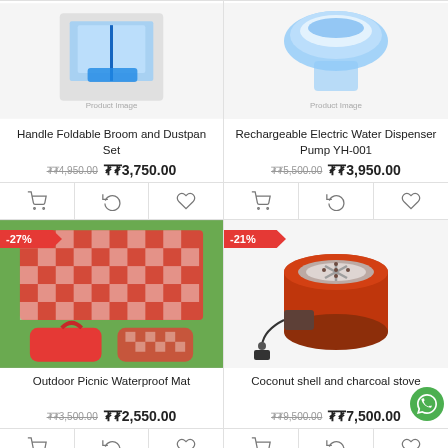[Figure (screenshot): E-commerce product grid showing 4 product cards: Handle Foldable Broom and Dustpan Set, Rechargeable Electric Water Dispenser Pump YH-001, Outdoor Picnic Waterproof Mat (-27%), Coconut shell and charcoal stove (-21%)]
Handle Foldable Broom and Dustpan Set
₮₮4,950.00  ₮₮3,750.00
Rechargeable Electric Water Dispenser Pump YH-001
₮₮5,500.00  ₮₮3,950.00
-27%
Outdoor Picnic Waterproof Mat
₮₮3,500.00  ₮₮2,550.00
-21%
Coconut shell and charcoal stove
₮₮9,500.00  ₮₮7,500.00